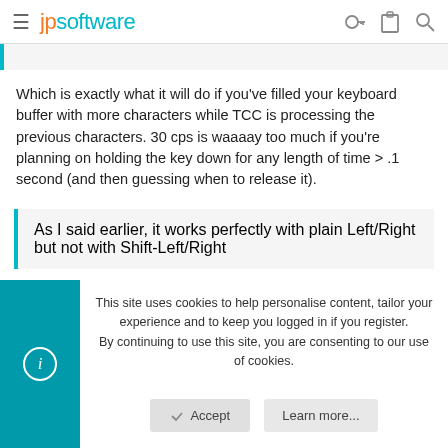jpsoftware
Which is exactly what it will do if you've filled your keyboard buffer with more characters while TCC is processing the previous characters. 30 cps is waaaay too much if you're planning on holding the key down for any length of time > .1 second (and then guessing when to release it).
As I said earlier, it works perfectly with plain Left/Right but not with Shift-Left/Right
This site uses cookies to help personalise content, tailor your experience and to keep you logged in if you register.
By continuing to use this site, you are consenting to our use of cookies.